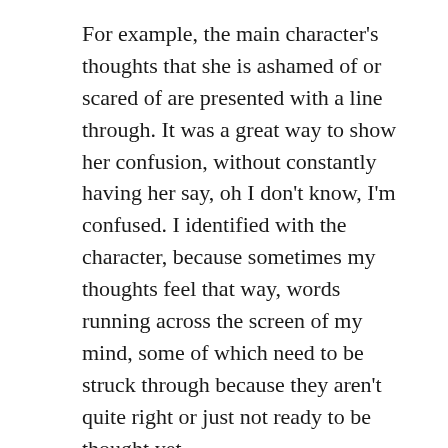For example, the main character's thoughts that she is ashamed of or scared of are presented with a line through. It was a great way to show her confusion, without constantly having her say, oh I don't know, I'm confused. I identified with the character, because sometimes my thoughts feel that way, words running across the screen of my mind, some of which need to be struck through because they aren't quite right or just not ready to be thought yet.
As always, I'm currently reading many books, including Sheryl Sandberg's Lean In, Sarah Bessey's Jesus Feminist and the sequels to the aforementioned dystopian YAL, Unravel Me